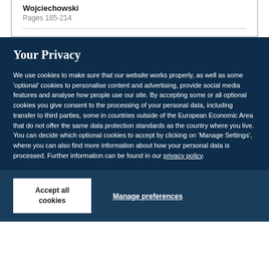Wojciechowski
Pages 185-214
Your Privacy
We use cookies to make sure that our website works properly, as well as some 'optional' cookies to personalise content and advertising, provide social media features and analyse how people use our site. By accepting some or all optional cookies you give consent to the processing of your personal data, including transfer to third parties, some in countries outside of the European Economic Area that do not offer the same data protection standards as the country where you live. You can decide which optional cookies to accept by clicking on 'Manage Settings', where you can also find more information about how your personal data is processed. Further information can be found in our privacy policy.
Accept all cookies
Manage preferences